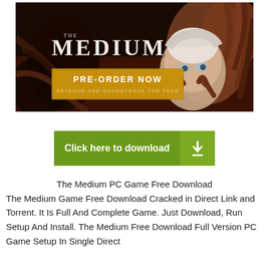[Figure (photo): The Medium video game banner showing a young woman with white hair surrounded by dark creature hands. Features THE MEDIUM logo in white gothic text and a golden PRE-ORDER NOW button with text ARTBOOK AND SOUNDTRACK FOR FREE.]
[Figure (infographic): Green download button reading 'Click here to download' with a download arrow icon on the right side in slightly different green shade.]
The Medium PC Game Free Download
The Medium Game Free Download Cracked in Direct Link and Torrent. It Is Full And Complete Game. Just Download, Run Setup And Install. The Medium Free Download Full Version PC Game Setup In Single Direct